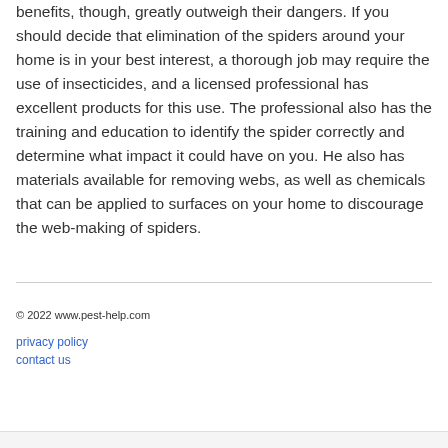benefits, though, greatly outweigh their dangers. If you should decide that elimination of the spiders around your home is in your best interest, a thorough job may require the use of insecticides, and a licensed professional has excellent products for this use. The professional also has the training and education to identify the spider correctly and determine what impact it could have on you. He also has materials available for removing webs, as well as chemicals that can be applied to surfaces on your home to discourage the web-making of spiders.
© 2022 www.pest-help.com
privacy policy
contact us